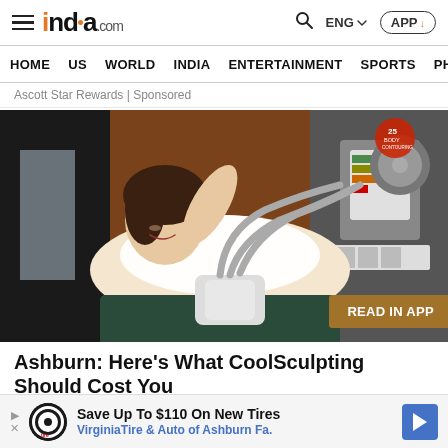india.com — HOME  US  WORLD  INDIA  ENTERTAINMENT  SPORTS  PHO
Ascott Star Rewards | Sponsored
[Figure (photo): Woman lying on a treatment chair receiving a CoolSculpting body contouring procedure, with medical device applicators on her abdomen. Clinical setting with equipment visible in background. 'READ IN APP' button overlay at bottom right.]
Ashburn: Here's What CoolSculpting Should Cost You
Save Up To $110 On New Tires — VirginiaTire & Auto of Ashburn Fa.